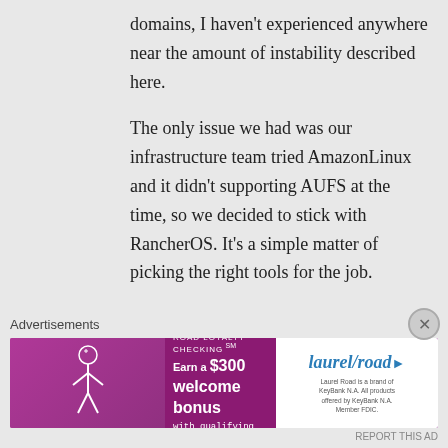domains, I haven't experienced anywhere near the amount of instability described here.
The only issue we had was our infrastructure team tried AmazonLinux and it didn't supporting AUFS at the time, so we decided to stick with RancherOS. It's a simple matter of picking the right tools for the job.
★ Liked by 1 person
↳ Reply
Advertisements
[Figure (screenshot): Advertisement banner for Laurel Road Loyalty Checking offering $300 welcome bonus with qualifying direct deposits, targeting nurses]